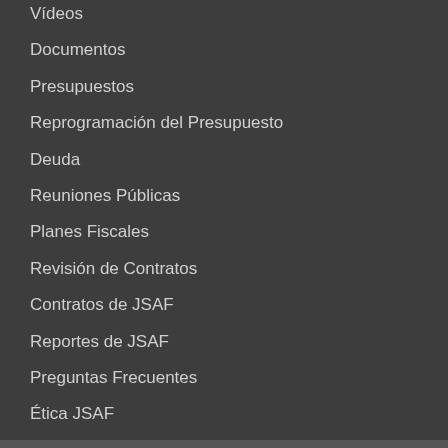Vídeos
Documentos
Presupuestos
Reprogramación del Presupuesto
Deuda
Reuniones Públicas
Planes Fiscales
Revisión de Contratos
Contratos de JSAF
Reportes de JSAF
Preguntas Frecuentes
Ética JSAF
Mapa del sitio
Contáctenos
COVID-19